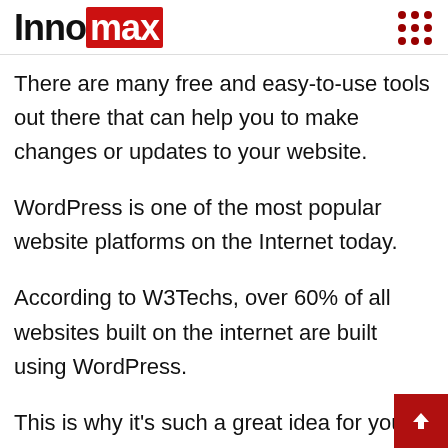Innomax
There are many free and easy-to-use tools out there that can help you to make changes or updates to your website.
WordPress is one of the most popular website platforms on the Internet today.
According to W3Techs, over 60% of all websites built on the internet are built using WordPress.
This is why it’s such a great idea for you to start learning how to manage your own WordPress